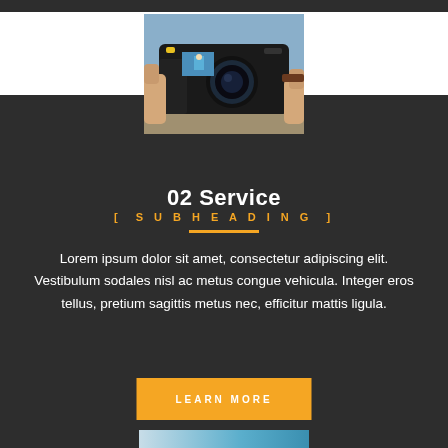[Figure (photo): Hand holding a camera with aerial/landscape photo visible on camera screen]
02 Service
[ SUBHEADING ]
Lorem ipsum dolor sit amet, consectetur adipiscing elit. Vestibulum sodales nisl ac metus congue vehicula. Integer eros tellus, pretium sagittis metus nec, efficitur mattis ligula.
LEARN MORE
[Figure (photo): Partial photo visible at bottom of page with blue/teal tones]